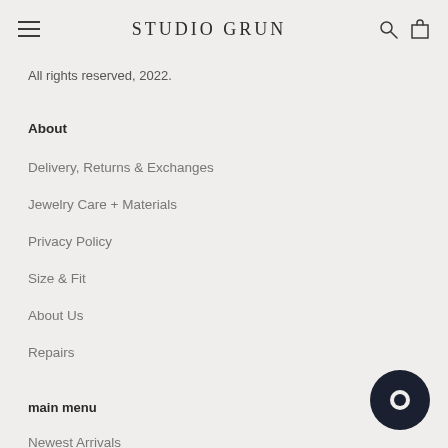STUDIO GRUN
All rights reserved, 2022.
About
Delivery, Returns & Exchanges
Jewelry Care + Materials
Privacy Policy
Size & Fit
About Us
Repairs
main menu
Newest Arrivals
[Figure (illustration): Dark circular chat/messaging bubble button in bottom right corner]